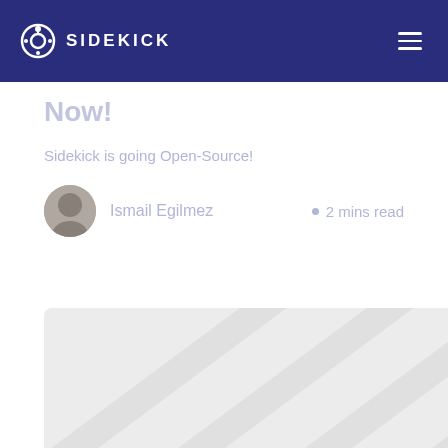SIDEKICK
Now!
Sidekick is going Open-Source!
Ismail Egilmez • 2 mins read
[Figure (photo): Light gray placeholder image area at the bottom of the page]